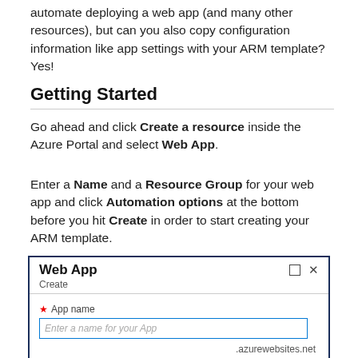automate deploying a web app (and many other resources), but can you also copy configuration information like app settings with your ARM template? Yes!
Getting Started
Go ahead and click Create a resource inside the Azure Portal and select Web App.
Enter a Name and a Resource Group for your web app and click Automation options at the bottom before you hit Create in order to start creating your ARM template.
[Figure (screenshot): Azure Portal Web App creation dialog showing a window titled 'Web App' with subtitle 'Create', a required 'App name' field with placeholder text 'Enter a name for your App', and a suffix '.azurewebsites.net'.]